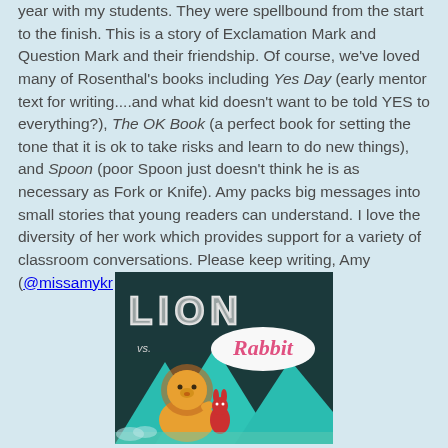year with my students.  They were spellbound from the start to the finish.  This is a story of Exclamation Mark and Question Mark and their friendship.  Of course, we've loved many of Rosenthal's books including Yes Day (early mentor text for writing....and what kid doesn't want to be told YES to everything?), The OK Book (a perfect book for setting the tone that it is ok to take risks and learn to do new things), and Spoon (poor Spoon just doesn't think he is as necessary as Fork or Knife).  Amy packs big messages into small stories that young readers can understand.  I love the diversity of her work which provides support for a variety of classroom conversations.  Please keep writing, Amy (@missamykr on Twitter)!  We love your work.
[Figure (illustration): Book cover for 'Lion vs. Rabbit' showing a cartoon lion and rabbit character with the title text in chalk-style letters on a dark background, with teal mountain shapes below.]